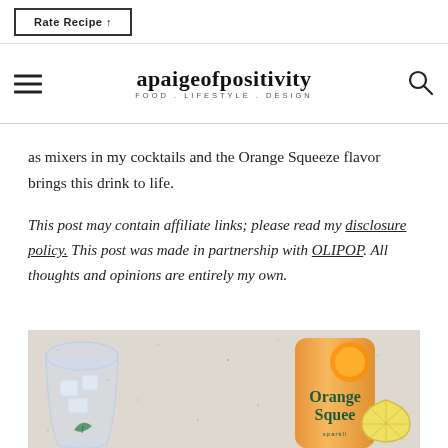Rate Recipe ↑
apaigeofpositivity — FOOD . LIFESTYLE . DESIGN
as mixers in my cocktails and the Orange Squeeze flavor brings this drink to life.
This post may contain affiliate links; please read my disclosure policy. This post was made in partnership with OLIPOP. All thoughts and opinions are entirely my own.
[Figure (photo): Overhead photo showing a cocktail glass with ice and a can of OLIPOP Orange Squeeze soda on a speckled countertop surface with a lemon slice.]